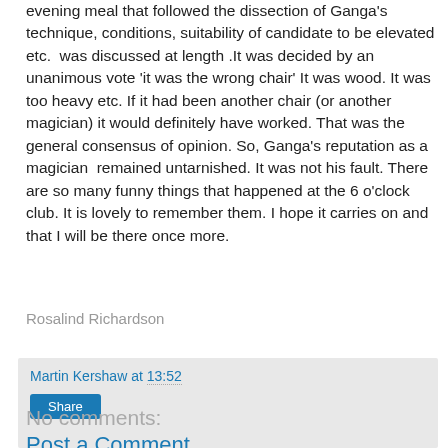evening meal that followed the dissection of Ganga's technique, conditions, suitability of candidate to be elevated etc.  was discussed at length .It was decided by an unanimous vote 'it was the wrong chair' It was wood. It was too heavy etc. If it had been another chair (or another magician) it would definitely have worked. That was the general consensus of opinion. So, Ganga's reputation as a magician  remained untarnished. It was not his fault. There are so many funny things that happened at the 6 o'clock club. It is lovely to remember them. I hope it carries on and that I will be there once more.
Rosalind Richardson
Martin Kershaw at 13:52
Share
No comments:
Post a Comment